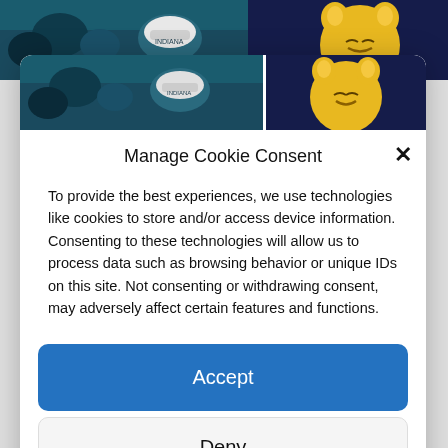[Figure (photo): Sports event photo strip showing crowd and mascot (yellow cat mascot on right side)]
Manage Cookie Consent
To provide the best experiences, we use technologies like cookies to store and/or access device information. Consenting to these technologies will allow us to process data such as browsing behavior or unique IDs on this site. Not consenting or withdrawing consent, may adversely affect certain features and functions.
Accept
Deny
View preferences
Cookie Policy